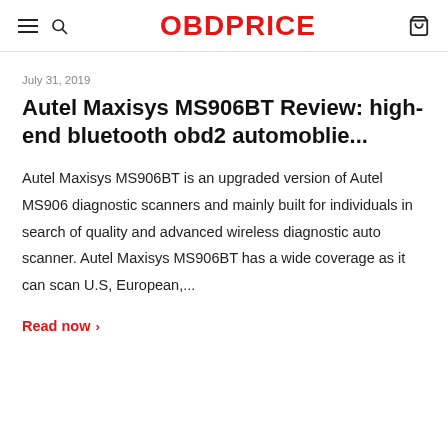OBDPRICE
July 31, 2019
Autel Maxisys MS906BT Review: high-end bluetooth obd2 automoblie...
Autel Maxisys MS906BT is an upgraded version of Autel MS906 diagnostic scanners and mainly built for individuals in search of quality and advanced wireless diagnostic auto scanner. Autel Maxisys MS906BT has a wide coverage as it can scan U.S, European,...
Read now >